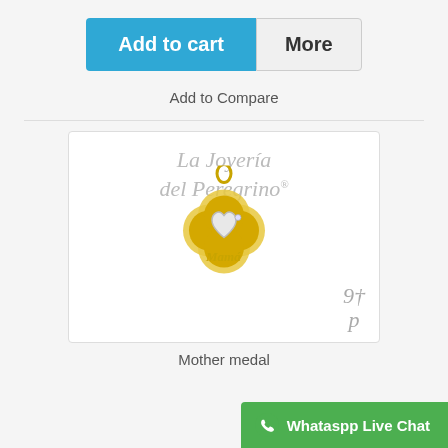Add to cart
More
Add to Compare
[Figure (photo): Gold jewelry pendant in flower shape with two hearts and 'Mamá' inscription, displayed with 'La Joyería del Peregrino' watermark and logo]
Mother medal
Whataspp Live Chat